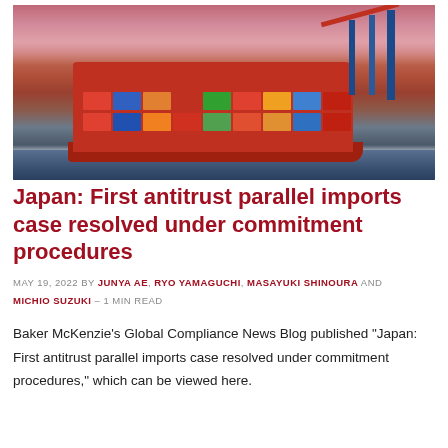[Figure (photo): Container ship loaded with colorful shipping containers at a port with large blue cranes, photographed at sunset with orange and pink sky reflecting on the water.]
Japan: First antitrust parallel imports case resolved under commitment procedures
MAY 19, 2022 By JUNYA AE, RYO YAMAGUCHI, MASAYUKI SHINOURA AND MICHIO SUZUKI – 1 MIN READ
Baker McKenzie's Global Compliance News Blog published "Japan: First antitrust parallel imports case resolved under commitment procedures," which can be viewed here.